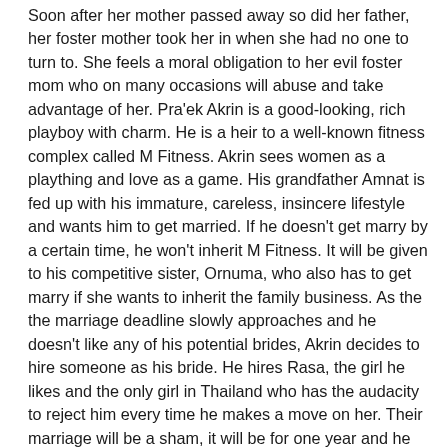Soon after her mother passed away so did her father, her foster mother took her in when she had no one to turn to. She feels a moral obligation to her evil foster mom who on many occasions will abuse and take advantage of her. Pra'ek Akrin is a good-looking, rich playboy with charm. He is a heir to a well-known fitness complex called M Fitness. Akrin sees women as a plaything and love as a game. His grandfather Amnat is fed up with his immature, careless, insincere lifestyle and wants him to get married. If he doesn't get marry by a certain time, he won't inherit M Fitness. It will be given to his competitive sister, Ornuma, who also has to get marry if she wants to inherit the family business. As the the marriage deadline slowly approaches and he doesn't like any of his potential brides, Akrin decides to hire someone as his bride. He hires Rasa, the girl he likes and the only girl in Thailand who has the audacity to reject him every time he makes a move on her. Their marriage will be a sham, it will be for one year and he will pay her 2 million baht ($66,766 USD) total. He will give her 1 million baht at the beginning of their marriage and 1 million baht at the end of their marriage. Rasa accept his offer because she needs the money. Around